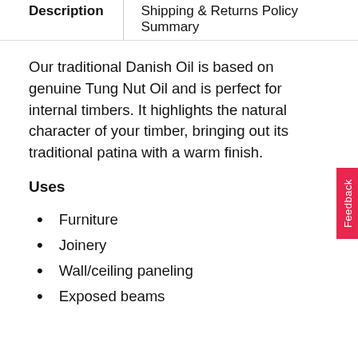Description
Shipping & Returns Policy Summary
Our traditional Danish Oil is based on genuine Tung Nut Oil and is perfect for internal timbers. It highlights the natural character of your timber, bringing out its traditional patina with a warm finish.
Uses
Furniture
Joinery
Wall/ceiling paneling
Exposed beams